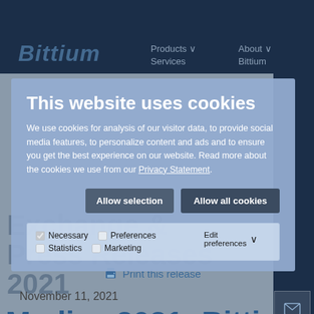[Figure (screenshot): Bittium website background showing navigation bar with Products and About Bittium links, dark navy header, exchange and press releases section, sidebar icons, print release button, November 11 2021 date, and Medica 2021 heading]
This website uses cookies
We use cookies for analysis of our visitor data, to provide social media features, to personalize content and ads and to ensure you get the best experience on our website. Read more about the cookies we use from our Privacy Statement.
Allow selection | Allow all cookies
☑ Necessary  ☐ Preferences  ☐ Statistics  ☐ Marketing  Edit preferences